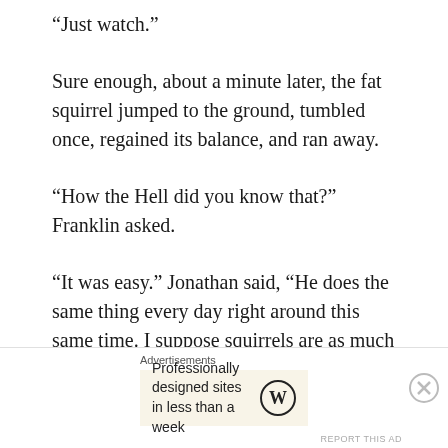“Just watch.”
Sure enough, about a minute later, the fat squirrel jumped to the ground, tumbled once, regained its balance, and ran away.
“How the Hell did you know that?” Franklin asked.
“It was easy.” Jonathan said, “He does the same thing every day right around this same time. I suppose squirrels are as much creatures of habit as we are.” Not taking his
Advertisements
Professionally designed sites in less than a week